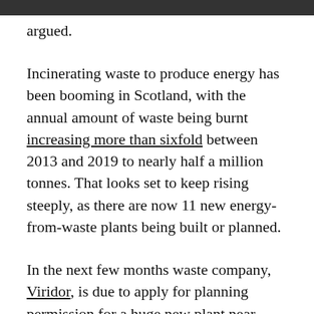argued.
Incinerating waste to produce energy has been booming in Scotland, with the annual amount of waste being burnt increasing more than sixfold between 2013 and 2019 to nearly half a million tonnes. That looks set to keep rising steeply, as there are now 11 new energy-from-waste plants being built or planned.
In the next few months waste company, Viridor, is due to apply for planning permission for a huge new plant near